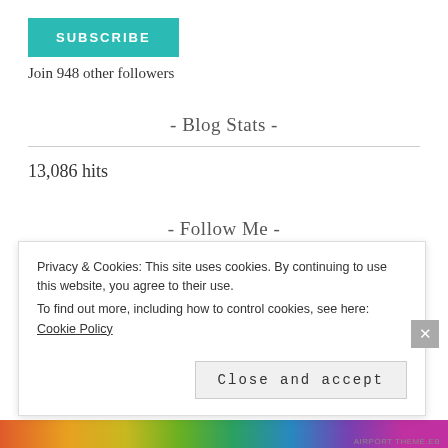SUBSCRIBE
Join 948 other followers
- Blog Stats -
13,086 hits
- Follow Me -
Privacy & Cookies: This site uses cookies. By continuing to use this website, you agree to their use. To find out more, including how to control cookies, see here: Cookie Policy
Close and accept